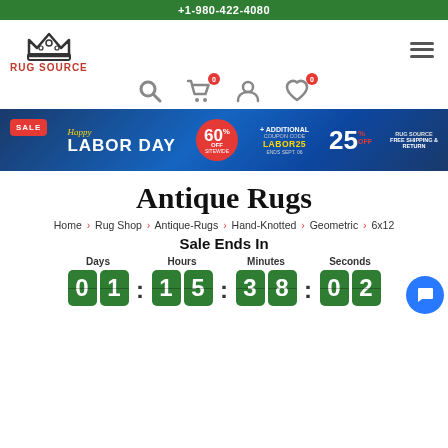+1-980-422-4080
[Figure (logo): Rug Source logo with crown icon and red text RUG SOURCE]
[Figure (infographic): Labor Day Sale banner: 60% off sitewide + additional 25% off with coupon code LABOR25, ends Sept. 06, free shipping and return]
Antique Rugs
Home > Rug Shop > Antique-Rugs > Hand-Knotted > Geometric > 6x12
Sale Ends In
Days  Hours  Minutes  Seconds  01 : 15 : 38 : 02